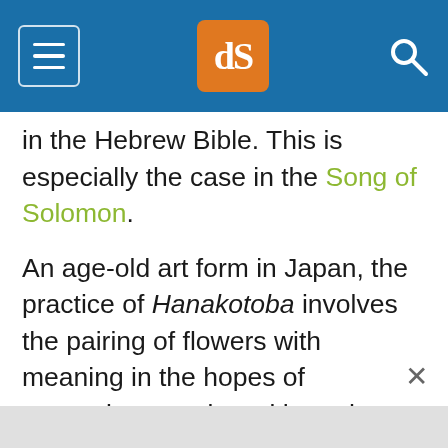dPS (website header navigation bar)
in the Hebrew Bible. This is especially the case in the Song of Solomon.
An age-old art form in Japan, the practice of Hanakotoba involves the pairing of flowers with meaning in the hopes of conveying emotion without the use of words. And for the first half of the 19th century, floriography was hugely popular in France, Britain and in the United States. Although many floriography dictionaries differed in meaning, some consensus on